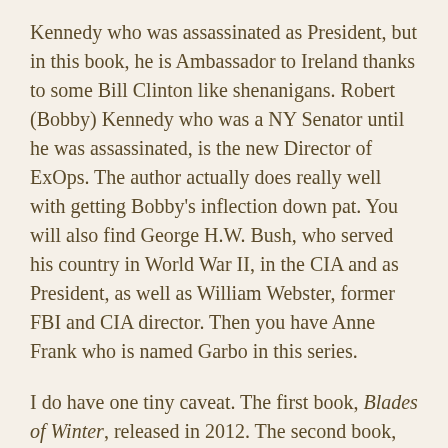Kennedy who was assassinated as President, but in this book, he is Ambassador to Ireland thanks to some Bill Clinton like shenanigans. Robert (Bobby) Kennedy who was a NY Senator until he was assassinated, is the new Director of ExOps. The author actually does really well with getting Bobby's inflection down pat. You will also find George H.W. Bush, who served his country in World War II, in the CIA and as President, as well as William Webster, former FBI and CIA director. Then you have Anne Frank who is named Garbo in this series.
I do have one tiny caveat. The first book, Blades of Winter, released in 2012. The second book, Hammer of Angels, was released in 2014. It has been 4 years between the second book and this one. I leave you with this; there is a definite cliffhanger ending that absolutely changes the course of where the author must go from her. My only hope is that he doesn't